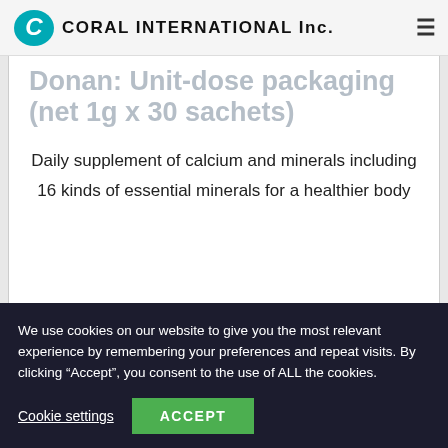CORAL INTERNATIONAL Inc.
Donan: Unit-dose packaging (net 1g x 30 sachets)
Daily supplement of calcium and minerals including 16 kinds of essential minerals for a healthier body
We use cookies on our website to give you the most relevant experience by remembering your preferences and repeat visits. By clicking “Accept”, you consent to the use of ALL the cookies.
Cookie settings
ACCEPT